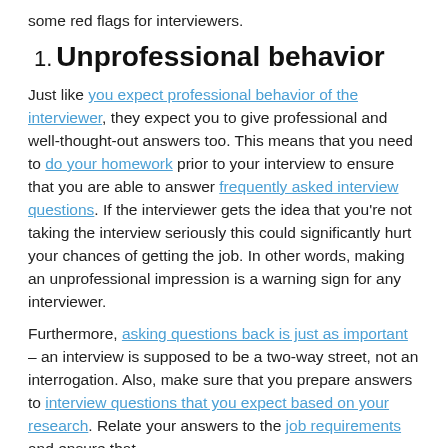some red flags for interviewers.
1. Unprofessional behavior
Just like you expect professional behavior of the interviewer, they expect you to give professional and well-thought-out answers too. This means that you need to do your homework prior to your interview to ensure that you are able to answer frequently asked interview questions. If the interviewer gets the idea that you're not taking the interview seriously this could significantly hurt your chances of getting the job. In other words, making an unprofessional impression is a warning sign for any interviewer.
Furthermore, asking questions back is just as important – an interview is supposed to be a two-way street, not an interrogation. Also, make sure that you prepare answers to interview questions that you expect based on your research. Relate your answers to the job requirements and ensure that